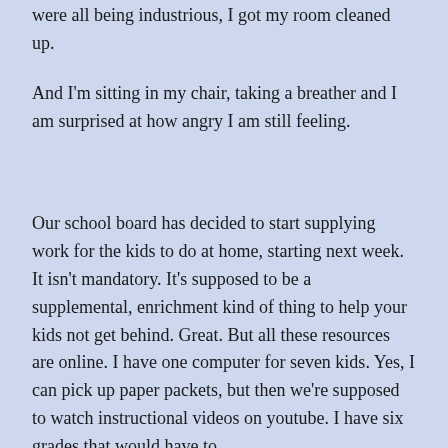were all being industrious, I got my room cleaned up.
And I'm sitting in my chair, taking a breather and I am surprised at how angry I am still feeling.
Our school board has decided to start supplying work for the kids to do at home, starting next week. It isn't mandatory. It's supposed to be a supplemental, enrichment kind of thing to help your kids not get behind. Great. But all these resources are online. I have one computer for seven kids. Yes, I can pick up paper packets, but then we're supposed to watch instructional videos on youtube. I have six grades that would have to